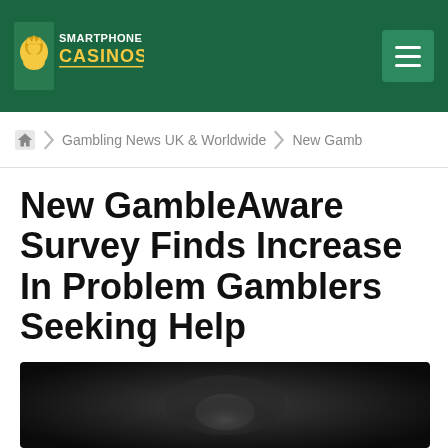Smartphone Casinos
Home > Gambling News UK & Worldwide > New Gamb...
New GambleAware Survey Finds Increase In Problem Gamblers Seeking Help
[Figure (photo): Dark image of a person's hand holding playing cards or gambling chips against a dark background]